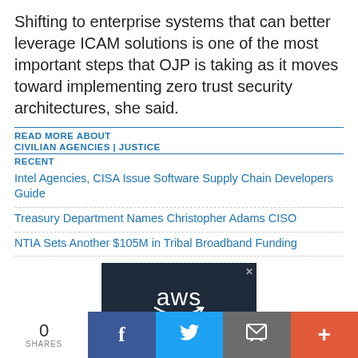Shifting to enterprise systems that can better leverage ICAM solutions is one of the most important steps that OJP is taking as it moves toward implementing zero trust security architectures, she said.
READ MORE ABOUT
CIVILIAN AGENCIES | JUSTICE
RECENT
Intel Agencies, CISA Issue Software Supply Chain Developers Guide
Treasury Department Names Christopher Adams CISO
NTIA Sets Another $105M in Tribal Broadband Funding
[Figure (screenshot): AWS advertisement banner with white 'aws' text and smile logo on dark navy background]
0 SHARES | Facebook share | Twitter share | Email share | More share options